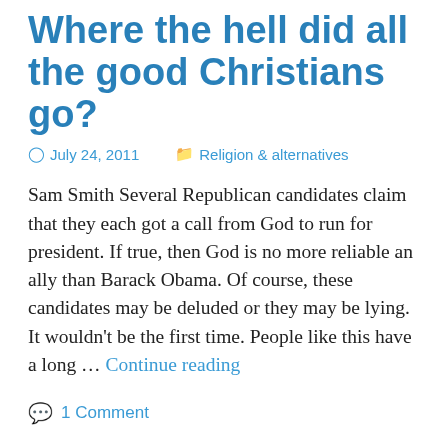Where the hell did all the good Christians go?
July 24, 2011   Religion & alternatives
Sam Smith Several Republican candidates claim that they each got a call from God to run for president. If true, then God is no more reliable an ally than Barack Obama. Of course, these candidates may be deluded or they may be lying. It wouldn't be the first time. People like this have a long … Continue reading
1 Comment